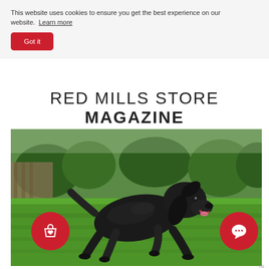This website uses cookies to ensure you get the best experience on our website.  Learn more
Got it
RED MILLS STORE MAGAZINE
[Figure (photo): A black cocker spaniel puppy running on green grass, mouth open, ears flying, photographed outdoors with garden/trees in background. Two circular red icon buttons overlay the bottom corners of the image — a shopping bag with heart on the left, and a chat bubble with ellipsis on the right.]
ns